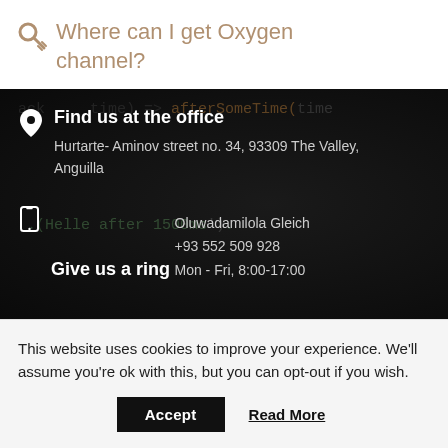Where can I get Oxygen channel?
Find us at the office
Hurtarte- Aminov street no. 34, 93309 The Valley, Anguilla
Give us a ring
Oluwadamilola Gleich
+93 552 509 928
Mon - Fri, 8:00-17:00
This website uses cookies to improve your experience. We'll assume you're ok with this, but you can opt-out if you wish.
Accept   Read More